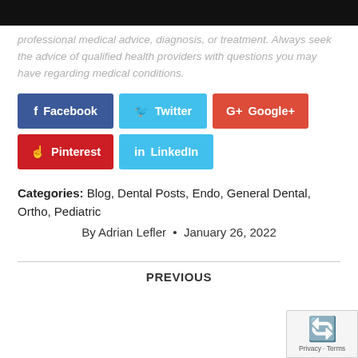professional medical advice, diagnosis, or treatment. Always seek the advice of qualified health providers with questions you may have regarding medical conditions.
[Figure (other): Social share buttons: Facebook (dark blue), Twitter (light blue), Google+ (red), Pinterest (red), LinkedIn (light blue)]
Categories: Blog, Dental Posts, Endo, General Dental, Ortho, Pediatric
By Adrian Lefler • January 26, 2022
PREVIOUS